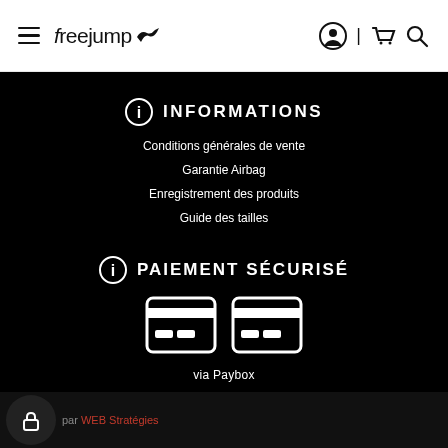freejump (navigation header with hamburger menu, logo, user icon, cart icon, search icon)
INFORMATIONS
Conditions générales de vente
Garantie Airbag
Enregistrement des produits
Guide des tailles
PAIEMENT SÉCURISÉ
[Figure (illustration): Two credit card icons side by side, white on black background]
via Paybox
par WEB Stratégies